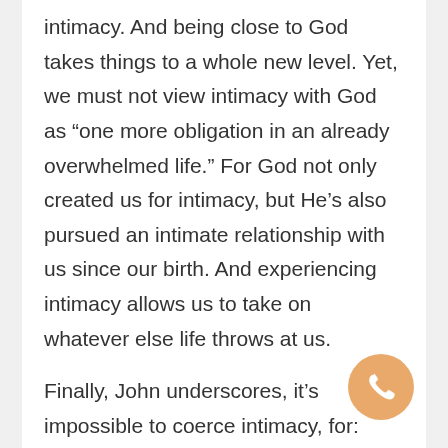intimacy.  And being close to God takes things to a whole new level.  Yet, we must not view intimacy with God as “one more obligation in an already overwhelmed life.”  For God not only created us for intimacy, but He’s also pursued an intimate relationship with us since our birth.  And experiencing intimacy allows us to take on whatever else life throws at us.
Finally, John underscores, it’s impossible to coerce intimacy, for:
“God doesn’t want compliance, he wants intimacy. Intimacy respects distance but isn’t content with
Today’s question: Which of Pastor Ortberg’s four